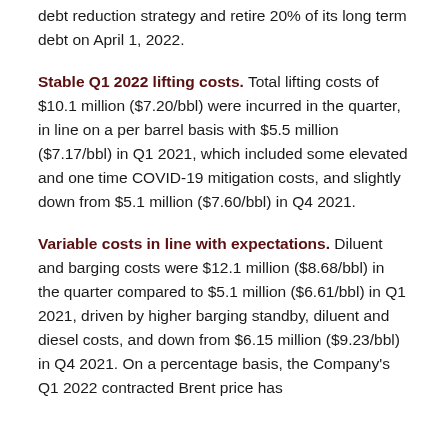debt reduction strategy and retire 20% of its long term debt on April 1, 2022.
Stable Q1 2022 lifting costs. Total lifting costs of $10.1 million ($7.20/bbl) were incurred in the quarter, in line on a per barrel basis with $5.5 million ($7.17/bbl) in Q1 2021, which included some elevated and one time COVID-19 mitigation costs, and slightly down from $5.1 million ($7.60/bbl) in Q4 2021.
Variable costs in line with expectations. Diluent and barging costs were $12.1 million ($8.68/bbl) in the quarter compared to $5.1 million ($6.61/bbl) in Q1 2021, driven by higher barging standby, diluent and diesel costs, and down from $6.15 million ($9.23/bbl) in Q4 2021. On a percentage basis, the Company's Q1 2022 contracted Brent price has